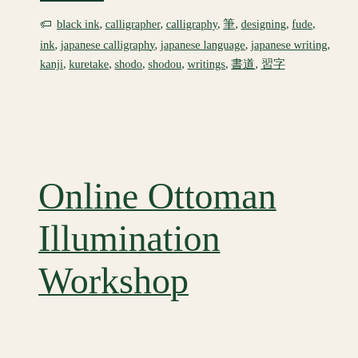Tags: black ink, calligrapher, calligraphy, 筆, designing, fude, ink, japanese calligraphy, japanese language, japanese writing, kanji, kuretake, shodo, shodou, writings, 書道, 習字
Online Ottoman Illumination Workshop